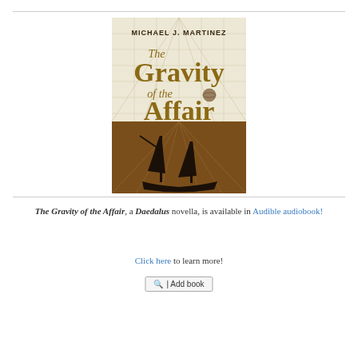[Figure (illustration): Book cover of 'The Gravity of the Affair' by Michael J. Martinez. Upper half has a cream/beige background with grid/map lines and the title in large gold serif font. Lower half shows a dark silhouette of a tall sailing ship against a brown/ochre background with radiating lines. A small planet/moon graphic near the title.]
The Gravity of the Affair, a Daedalus novella, is available in Audible audiobook!
Click here to learn more!
[Figure (screenshot): Add book button with search icon]